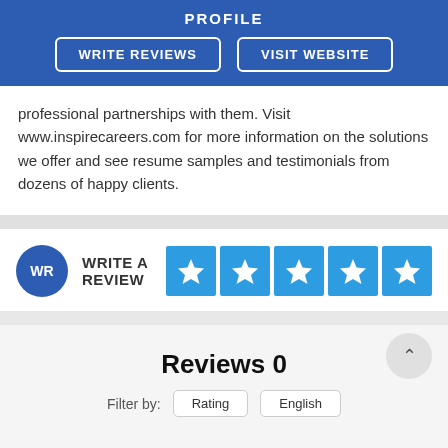PROFILE
WRITE REVIEWS | VISIT WEBSITE
professional partnerships with them. Visit www.inspirecareers.com for more information on the solutions we offer and see resume samples and testimonials from dozens of happy clients.
[Figure (other): Write a review button with WR circle avatar and five blue star rating boxes]
Reviews 0
Filter by: Rating | English